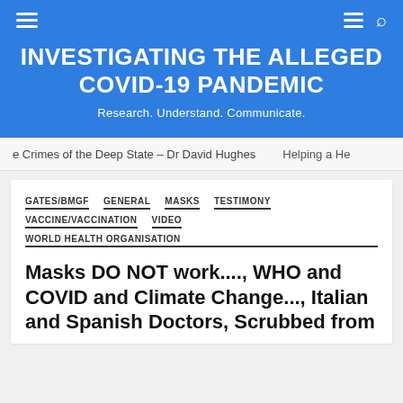INVESTIGATING THE ALLEGED COVID-19 PANDEMIC
Research. Understand. Communicate.
e Crimes of the Deep State – Dr David Hughes    Helping a He
GATES/BMGF
GENERAL
MASKS
TESTIMONY
VACCINE/VACCINATION
VIDEO
WORLD HEALTH ORGANISATION
Masks DO NOT work...., WHO and COVID and Climate Change..., Italian and Spanish Doctors, Scrubbed from